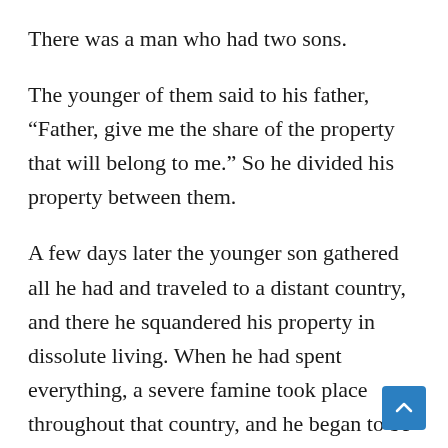There was a man who had two sons.
The younger of them said to his father, “Father, give me the share of the property that will belong to me.” So he divided his property between them.
A few days later the younger son gathered all he had and traveled to a distant country, and there he squandered his property in dissolute living. When he had spent everything, a severe famine took place throughout that country, and he began to be in need. So he went and hired himself out to one of the citizens of that country, who sent him to his fields to feed the